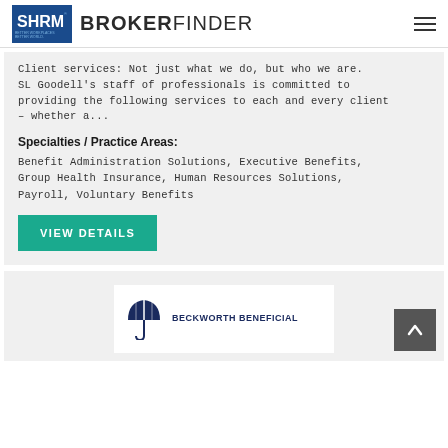SHRM BROKERFINDER
Client services: Not just what we do, but who we are. SL Goodell's staff of professionals is committed to providing the following services to each and every client – whether a...
Specialties / Practice Areas:
Benefit Administration Solutions, Executive Benefits, Group Health Insurance, Human Resources Solutions, Payroll, Voluntary Benefits
VIEW DETAILS
[Figure (logo): Beckworth Beneficial logo with umbrella icon and company name text]